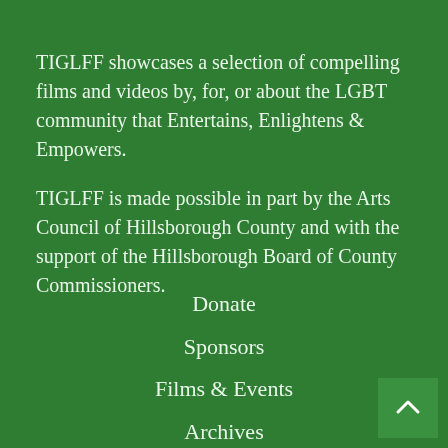TIGLFF showcases a selection of compelling films and videos by, for, or about the LGBT community that Entertains, Enlightens & Empowers.
TIGLFF is made possible in part by the Arts Council of Hillsborough County and with the support of the Hillsborough Board of County Commissioners.
Donate
Sponsors
Films & Events
Archives
Careers
Volunteer
Contact